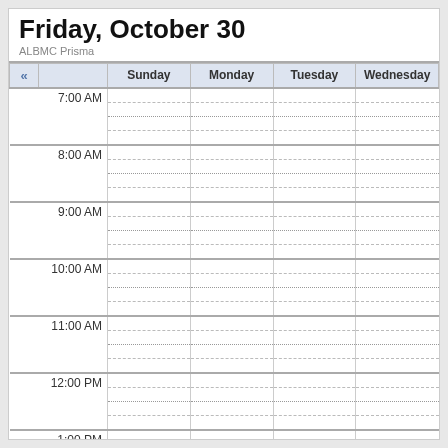Friday, October 30
ALBMC Prisma
| « |  | Sunday | Monday | Tuesday | Wednesday |
| --- | --- | --- | --- | --- | --- |
| 7:00 AM |  |  |  |  |
| 8:00 AM |  |  |  |  |
| 9:00 AM |  |  |  |  |
| 10:00 AM |  |  |  |  |
| 11:00 AM |  |  |  |  |
| 12:00 PM |  |  |  |  |
| 1:00 PM |  |  |  |  |